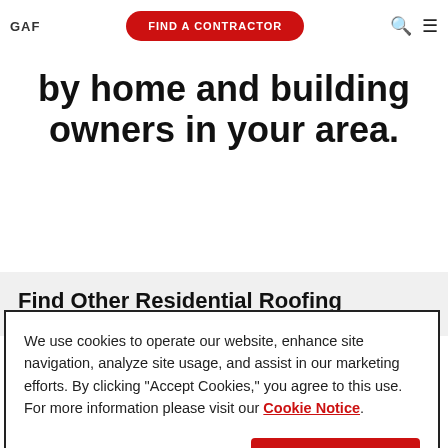GAF | FIND A CONTRACTOR
by home and building owners in your area.
Find Other Residential Roofing
We use cookies to operate our website, enhance site navigation, analyze site usage, and assist in our marketing efforts. By clicking "Accept Cookies," you agree to this use. For more information please visit our Cookie Notice.
Cookie Preferences | Accept Cookies